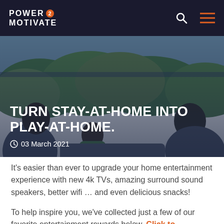POWER 2 MOTIVATE
[Figure (photo): A family of four seen from behind, sitting on a couch looking out at a green forested landscape through a large window. The image has a dark overlay with a blue-navy tint.]
TURN STAY-AT-HOME INTO PLAY-AT-HOME.
03 March 2021
It’s easier than ever to upgrade your home entertainment experience with new 4k TVs, amazing surround sound speakers, better wifi … and even delicious snacks!
To help inspire you, we’ve collected just a few of our favorite entertainment rewards below. Click to